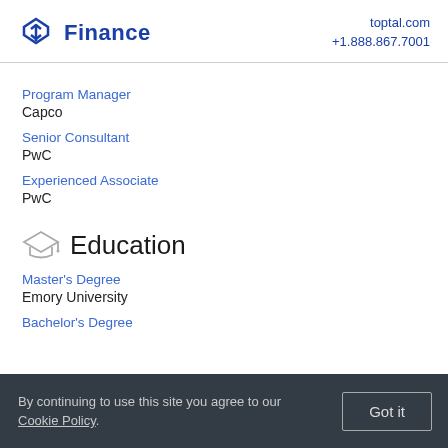Finance | toptal.com +1.888.867.7001
Program Manager
Capco
Senior Consultant
PwC
Experienced Associate
PwC
Education
Master's Degree
Emory University
Bachelor's Degree
By continuing to use this site you agree to our Cookie Policy.